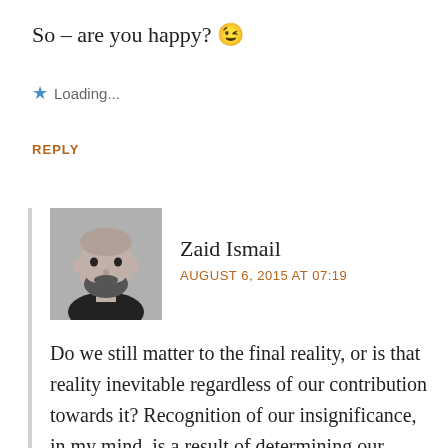So – are you happy? 😉
★ Loading...
REPLY
Zaid Ismail
AUGUST 6, 2015 AT 07:19
[Figure (photo): Black and white profile photo of a bearded man]
Do we still matter to the final reality, or is that reality inevitable regardless of our contribution towards it? Recognition of our insignificance, in my mind, is a result of determining our perceived worth relative to our desired worth to those around us, or within the setting that we wish to influence. The reasons for measuring that